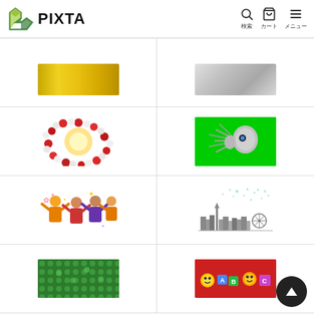PIXTA
[Figure (screenshot): PIXTA stock image website screenshot showing a grid of video/image thumbnails including: gold/golden abstract background, silver metallic abstract, red and white spheres molecular circle, silver robot alien on green background, celebrating cartoon people, city skyline illustration, green dot pattern background, colorful emoji/toys]
[Figure (other): Back to top button - dark circle with upward triangle arrow]